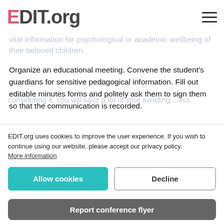EDIT.org
vital information for psychological or academic wellbeing of their beloved children.
Organize an educational meeting. Convene the student's guardians for sensitive pedagogical information. Fill out editable minutes forms and politely ask them to sign them so that the communication is recorded.
Announcements of virtual meetings. It is becoming increasingly common for these meetings to be held virtually: by streaming using programs such as Zoom or Skype. Inform parents of this possibility if your school is considering it. You will save a lot of time avoiding ...
EDIT.org uses cookies to improve the user experience. If you wish to continue using our website, please accept our privacy policy. More information
Allow cookies / Decline
Report conference flyer